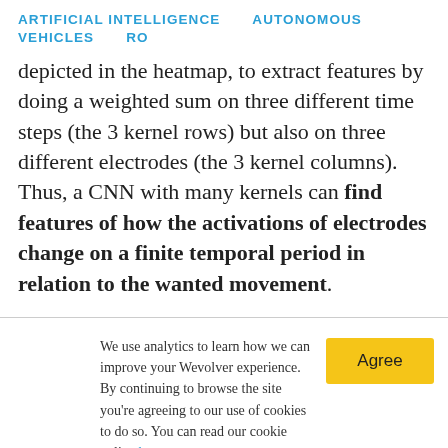ARTIFICIAL INTELLIGENCE   AUTONOMOUS VEHICLES   RO
depicted in the heatmap, to extract features by doing a weighted sum on three different time steps (the 3 kernel rows) but also on three different electrodes (the 3 kernel columns). Thus, a CNN with many kernels can find features of how the activations of electrodes change on a finite temporal period in relation to the wanted movement.
We use analytics to learn how we can improve your Wevolver experience. By continuing to browse the site you're agreeing to our use of cookies to do so. You can read our cookie policy here.